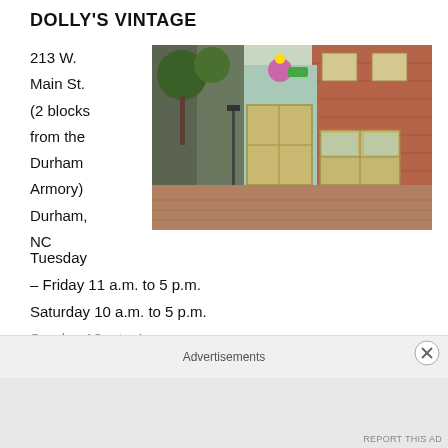DOLLY'S VINTAGE
213 W. Main St. (2 blocks from the Durham Armory) Durham, NC
[Figure (photo): Street-level photo of Dolly's Vintage shop storefront on W. Main St., Durham NC, showing a light blue/teal painted brick building with large display windows, a decorative flower sign, and a vintage claw-foot bathtub planter on the sidewalk.]
Tuesday – Friday 11 a.m. to 5 p.m.
Saturday 10 a.m. to 5 p.m.
Sunday 12...to 4
Advertisements